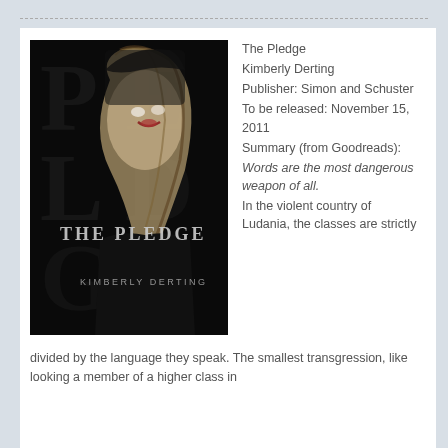[Figure (photo): Book cover of 'The Pledge' by Kimberly Derting — dark black and white photo of a woman with blonde hair wearing a dark veil, text 'THE PLEDGE' and 'KIMBERLY DERTING' overlaid]
The Pledge
Kimberly Derting
Publisher: Simon and Schuster
To be released: November 15, 2011
Summary (from Goodreads):
Words are the most dangerous weapon of all.
In the violent country of Ludania, the classes are strictly divided by the language they speak. The smallest transgression, like looking a member of a higher class in